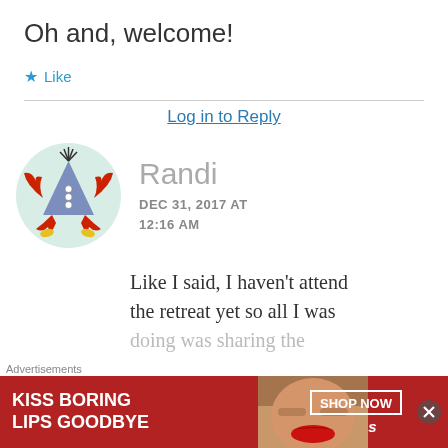Oh and, welcome!
★ Like
Log in to Reply
[Figure (illustration): Cartoon avatar of a crab-like creature with a blue triangular body, red claws, buttons, and yellow feet, on a light green circular background]
Randi
DEC 31, 2017 AT 12:16 AM
Like I said, I haven't attend the retreat yet so all I was doing was sharing the
Advertisements
[Figure (screenshot): Macy's advertisement banner: KISS BORING LIPS GOODBYE with SHOP NOW button and Macy's logo on red background with model photo]